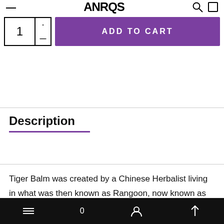ANROS
[Figure (other): Quantity selector box showing number 1 with increment/decrement controls]
ADD TO CART
Description
Tiger Balm was created by a Chinese Herbalist living in what was then known as Rangoon, now known as Yangon, the capital of Myanmar, formerly Burma. So the 13. The
≡  0  person-icon  ↑